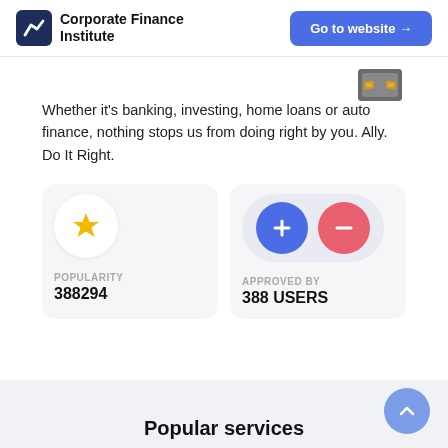Corporate Finance Institute  Go to website →
Whether it's banking, investing, home loans or auto finance, nothing stops us from doing right by you. Ally. Do It Right.
POPULARITY
388294
APPROVED BY
388 USERS
Popular services